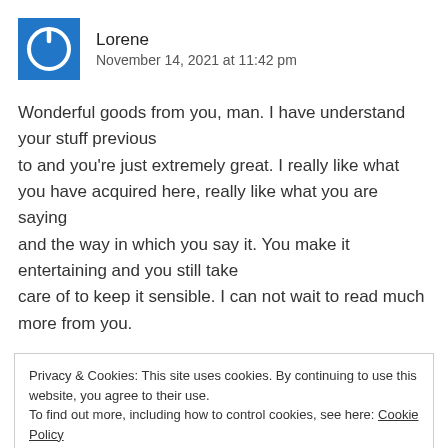Lorene
November 14, 2021 at 11:42 pm
Wonderful goods from you, man. I have understand your stuff previous to and you're just extremely great. I really like what you have acquired here, really like what you are saying and the way in which you say it. You make it entertaining and you still take care of to keep it sensible. I can not wait to read much more from you.
Privacy & Cookies: This site uses cookies. By continuing to use this website, you agree to their use.
To find out more, including how to control cookies, see here: Cookie Policy
Close and accept